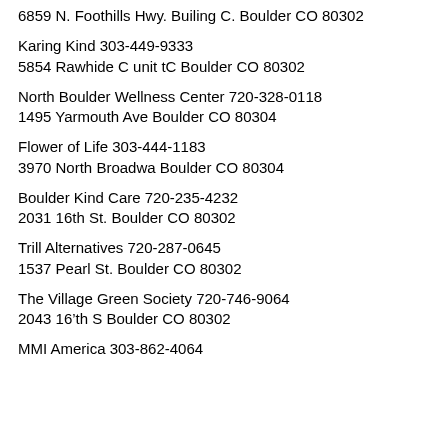6859 N. Foothills Hwy. Builing C. Boulder CO 80302
Karing Kind 303-449-9333
5854 Rawhide C unit tC Boulder CO 80302
North Boulder Wellness Center 720-328-0118
1495 Yarmouth Ave Boulder CO 80304
Flower of Life 303-444-1183
3970 North Broadwa Boulder CO 80304
Boulder Kind Care 720-235-4232
2031 16th St. Boulder CO 80302
Trill Alternatives 720-287-0645
1537 Pearl St. Boulder CO 80302
The Village Green Society 720-746-9064
2043 16’th S Boulder CO 80302
MMI America 303-862-4064